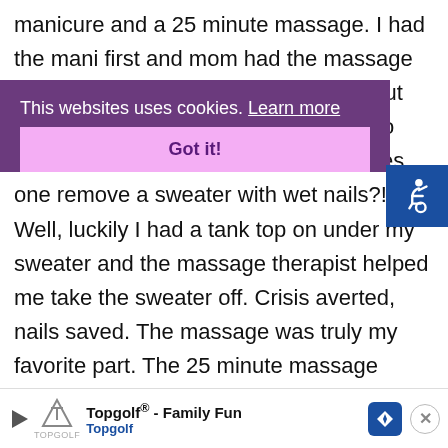manicure and a 25 minute massage. I had the mani first and mom had the massage first, then we swapped. Let me point out the one obvious flaw in my plan that no one noticed when I booked it: How does one remove a sweater with wet nails?! Well, luckily I had a tank top on under my sweater and the massage therapist helped me take the sweater off. Crisis averted, nails saved. The massage was truly my favorite part. The 25 minute massage focuses on your back shou...
This websites uses cookies. Learn more
Got it!
[Figure (other): Accessibility icon — white wheelchair symbol on blue square background]
[Figure (other): Topgolf advertisement banner at bottom of page with play button, Topgolf logo, text 'Topgolf® - Family Fun Topgolf', blue diamond navigation icon, and close button]